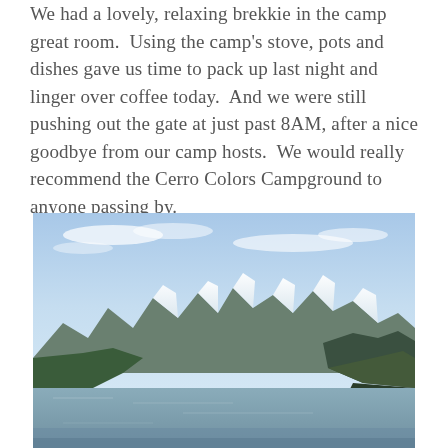We had a lovely, relaxing brekkie in the camp great room.  Using the camp's stove, pots and dishes gave us time to pack up last night and linger over coffee today.  And we were still pushing out the gate at just past 8AM, after a nice goodbye from our camp hosts.  We would really recommend the Cerro Colors Campground to anyone passing by.
[Figure (photo): Landscape photograph of a mountain lake scene. Snow-capped mountain peaks are visible in the background under a partly cloudy blue sky. The foreground shows calm lake water with dark green forested hillsides on the left and right sides of the image.]